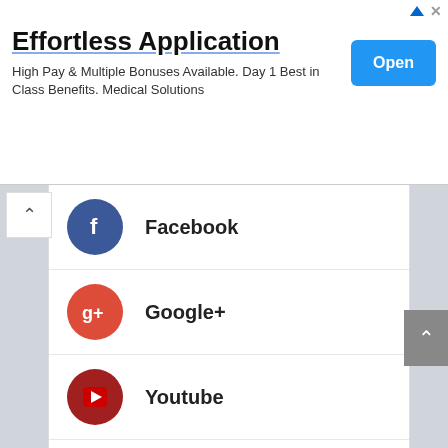[Figure (screenshot): Advertisement banner for Effortless Application with Open button]
Effortless Application
High Pay & Multiple Bonuses Available. Day 1 Best in Class Benefits. Medical Solutions
Facebook
Google+
Youtube
Twitter
Instagram